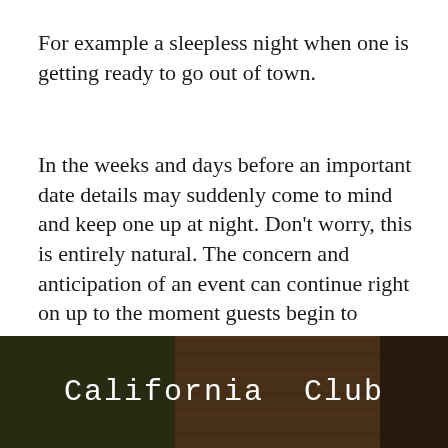For example a sleepless night when one is getting ready to go out of town.
In the weeks and days before an important date details may suddenly come to mind and keep one up at night. Don’t worry, this is entirely natural. The concern and anticipation of an event can continue right on up to the moment guests begin to arrive.
[Figure (photo): A dark photograph of wooden surfaces with text 'California Club' overlaid in white monospace font]